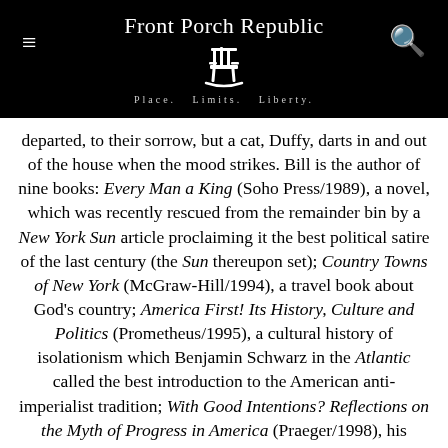Front Porch Republic — Place. Limits. Liberty.
departed, to their sorrow, but a cat, Duffy, darts in and out of the house when the mood strikes. Bill is the author of nine books: Every Man a King (Soho Press/1989), a novel, which was recently rescued from the remainder bin by a New York Sun article proclaiming it the best political satire of the last century (the Sun thereupon set); Country Towns of New York (McGraw-Hill/1994), a travel book about God's country; America First! Its History, Culture and Politics (Prometheus/1995), a cultural history of isolationism which Benjamin Schwarz in the Atlantic called the best introduction to the American anti-imperialist tradition; With Good Intentions? Reflections on the Myth of Progress in America (Praeger/1998), his worst-seller, a sympathetic account of critics of highways, school consolidation, a standing army, and the Siren Progress; Dispatches from the Muckdog Gazette: A Mostly Affectionate Account of a Small Town's Fight to Survive (Henry